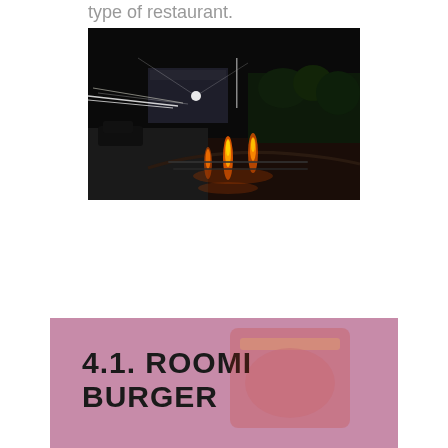type of restaurant.
[Figure (photo): Nighttime photo of a restaurant exterior with illuminated fountains showing orange/yellow fire or flame effects along a curved pathway, bright light streaks from headlights, a building visible in the background with green plants.]
[Figure (photo): Pink/mauve colored banner section with bold black text reading '4.1. ROOMI BURGER' and a faint red burger restaurant sign/logo visible in the background.]
4.1. ROOMI BURGER